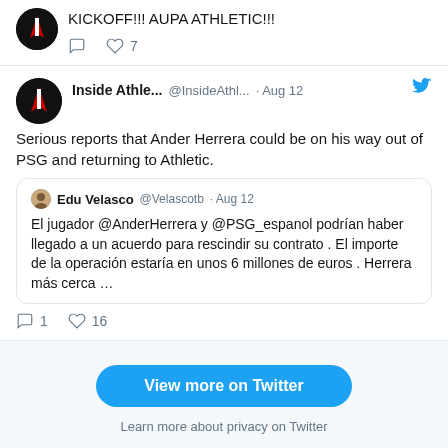KICKOFF!!! AUPA ATHLETIC!!!
♡ 7
Inside Athle... @InsideAthl... · Aug 12
Serious reports that Ander Herrera could be on his way out of PSG and returning to Athletic.
Edu Velasco @Velascotb · Aug 12 — El jugador @AnderHerrera y @PSG_espanol podrían haber llegado a un acuerdo para rescindir su contrato . El importe de la operación estaría en unos 6 millones de euros . Herrera más cerca …
♡ 1   ♡ 16
[Figure (screenshot): View more on Twitter button]
Learn more about privacy on Twitter